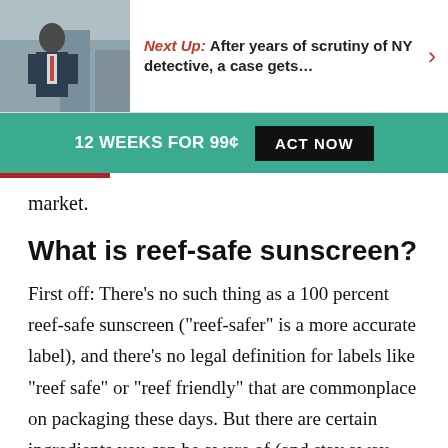Next Up: After years of scrutiny of NY detective, a case gets...
12 WEEKS FOR 99¢  ACT NOW
market.
What is reef-safe sunscreen?
First off: There's no such thing as a 100 percent reef-safe sunscreen ("reef-safer" is a more accurate label), and there's no legal definition for labels like “reef safe” or “reef friendly” that are commonplace on packaging these days. But there are certain ingredients you can be aware of (and stay away from) when it comes to